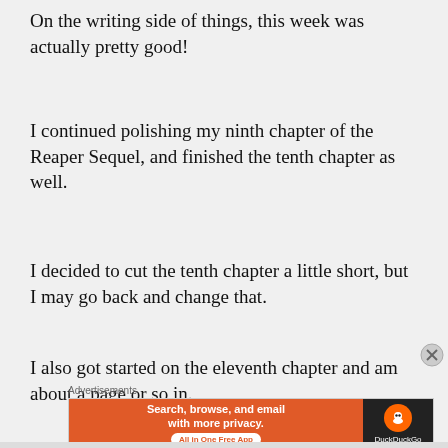On the writing side of things, this week was actually pretty good!
I continued polishing my ninth chapter of the Reaper Sequel, and finished the tenth chapter as well.
I decided to cut the tenth chapter a little short, but I may go back and change that.
I also got started on the eleventh chapter and am about a page or so in.
Advertisements
[Figure (other): DuckDuckGo advertisement banner: orange left panel with text 'Search, browse, and email with more privacy. All in One Free App' and dark right panel with DuckDuckGo logo and name.]